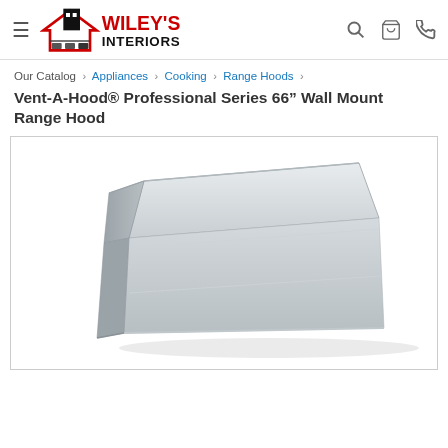Wiley's Interiors — navigation header with logo, search, cart, phone icons
Our Catalog › Appliances › Cooking › Range Hoods ›
Vent-A-Hood® Professional Series 66" Wall Mount Range Hood
[Figure (photo): Stainless steel wall mount range hood, trapezoidal profile, viewed from front-right angle, on white background]